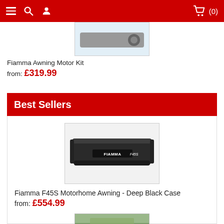Navigation bar with menu, search, user icons and cart (0)
[Figure (photo): Fiamma Awning Motor Kit product image, partial view on light blue background]
Fiamma Awning Motor Kit
from: £319.99
Best Sellers
[Figure (photo): Fiamma F45S Motorhome Awning Deep Black Case product image showing dark awning cassette with FIAMMA F45S logo]
Fiamma F45S Motorhome Awning - Deep Black Case
from: £554.99
[Figure (photo): Partial product image at bottom of page, appears to show a green outdoor scene]